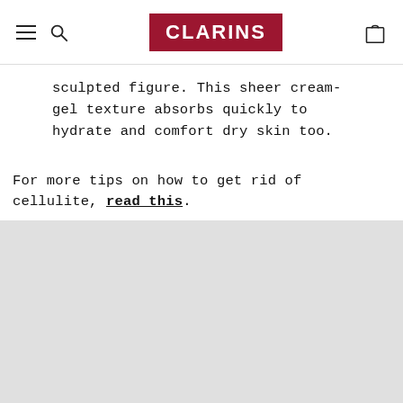CLARINS
sculpted figure. This sheer cream-gel texture absorbs quickly to hydrate and comfort dry skin too.
For more tips on how to get rid of cellulite, read this.
[Figure (photo): Gray placeholder image area at bottom of page]